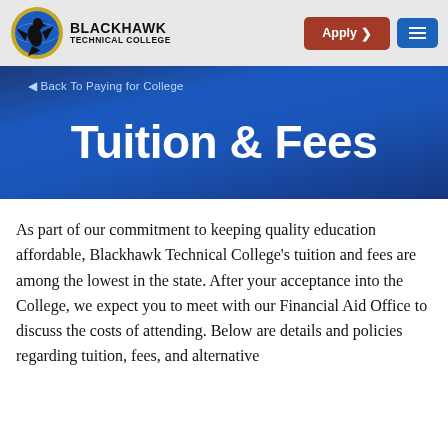Blackhawk Technical College — Apply | Menu
◄ Back To Paying for College
Tuition & Fees
As part of our commitment to keeping quality education affordable, Blackhawk Technical College's tuition and fees are among the lowest in the state. After your acceptance into the College, we expect you to meet with our Financial Aid Office to discuss the costs of attending. Below are details and policies regarding tuition, fees, and alternative